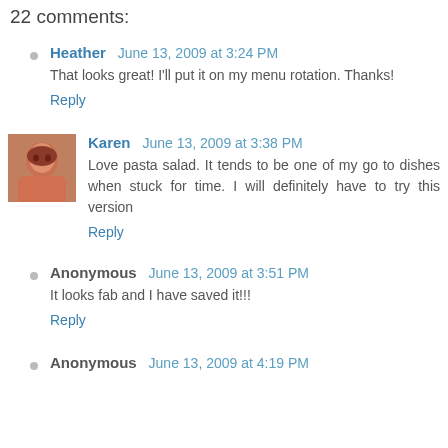22 comments:
Heather  June 13, 2009 at 3:24 PM
That looks great! I'll put it on my menu rotation. Thanks!
Reply
Karen  June 13, 2009 at 3:38 PM
Love pasta salad. It tends to be one of my go to dishes when stuck for time. I will definitely have to try this version
Reply
Anonymous  June 13, 2009 at 3:51 PM
It looks fab and I have saved it!!!
Reply
Anonymous  June 13, 2009 at 4:19 PM